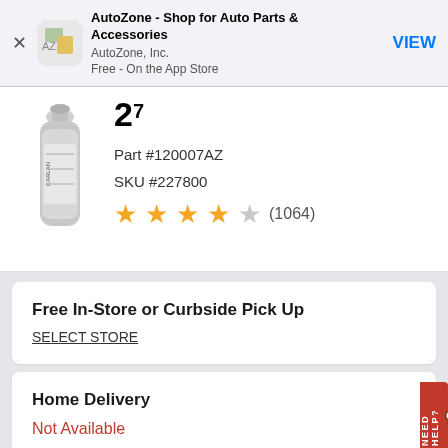[Figure (screenshot): App Store banner for AutoZone app showing X close button, AZ icon, app name 'AutoZone - Shop for Auto Parts & Accessories', publisher 'AutoZone, Inc.', 'Free - On the App Store', and blue VIEW button]
[Figure (photo): AutoZone product bottle image (silver/metal bottle, Carlan brand)]
Part #120007AZ
SKU #227800
[Figure (other): 4 out of 5 star rating with (1064) reviews]
Free In-Store or Curbside Pick Up
SELECT STORE
Home Delivery
Not Available